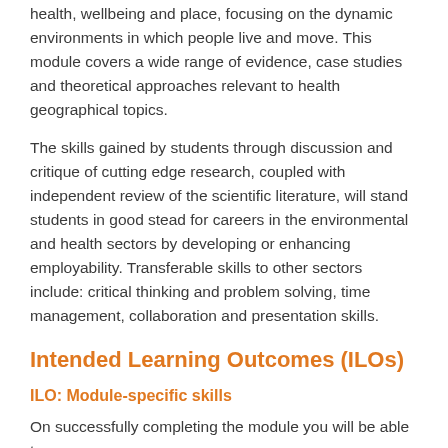health, wellbeing and place, focusing on the dynamic environments in which people live and move. This module covers a wide range of evidence, case studies and theoretical approaches relevant to health geographical topics.
The skills gained by students through discussion and critique of cutting edge research, coupled with independent review of the scientific literature, will stand students in good stead for careers in the environmental and health sectors by developing or enhancing employability. Transferable skills to other sectors include: critical thinking and problem solving, time management, collaboration and presentation skills.
Intended Learning Outcomes (ILOs)
ILO: Module-specific skills
On successfully completing the module you will be able to...
1. Explain, using pertinent examples from social research, a range of theories and concepts that link health, wellbeing and place.
2. Describe contemporary debates around the complex